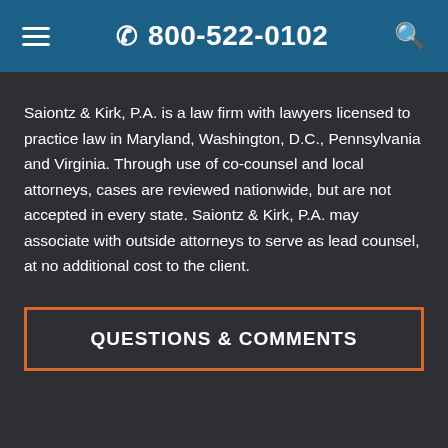☰  📞 800-522-0102  🔍
Saiontz & Kirk, P.A. is a law firm with lawyers licensed to practice law in Maryland, Washington, D.C., Pennsylvania and Virginia. Through use of co-counsel and local attorneys, cases are reviewed nationwide, but are not accepted in every state. Saiontz & Kirk, P.A. may associate with outside attorneys to serve as lead counsel, at no additional cost to the client.
QUESTIONS & COMMENTS
VIEW ALL UPDATES